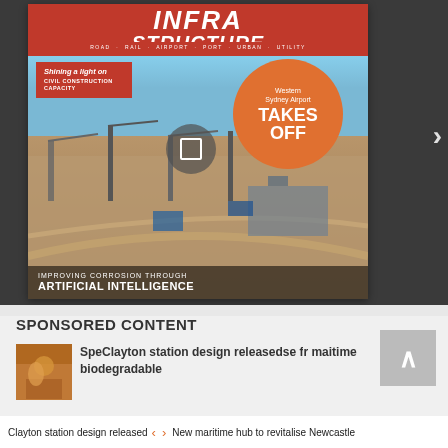[Figure (photo): Magazine cover for 'Infra Structure' publication showing aerial view of Western Sydney Airport construction site with cranes, featuring articles: 'Shining a light on Civil Construction Capacity', 'Western Sydney Airport Takes Off', 'Improving Corrosion Through Artificial Intelligence'. Navigation arrow on right.]
SPONSORED CONTENT
[Figure (photo): Small thumbnail image showing a warm-toned indoor scene, likely for sponsored content article]
Spe...se for maritime biodegradable
Clayton station design released | < > | New maritime hub to revitalise Newcastle